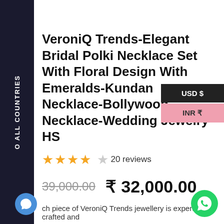VeroniQ Trends-Elegant Bridal Polki Necklace Set With Floral Design With Emeralds-Kundan Necklace-Bollywood Necklace-Wedding Jewelry-HS
20 reviews
39,000.00  ₹ 32,000.00
ch piece of VeroniQ Trends jewellery is expertly crafted and